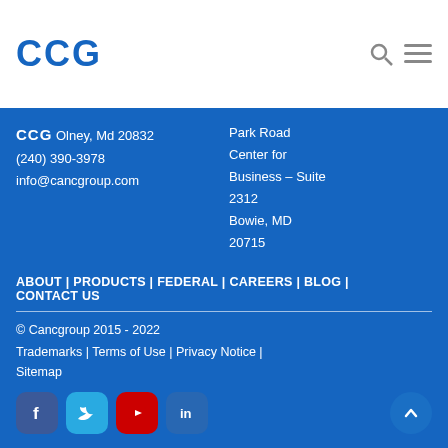CCG
CCG Olney, Md 20832
(240) 390-3978
info@cancgroup.com
Park Road Center for Business – Suite 2312 Bowie, MD 20715
ABOUT | PRODUCTS | FEDERAL | CAREERS | BLOG | CONTACT US
© Cancgroup 2015 - 2022
Trademarks | Terms of Use | Privacy Notice | Sitemap
[Figure (logo): Social media icons: Facebook, Twitter, YouTube, LinkedIn]